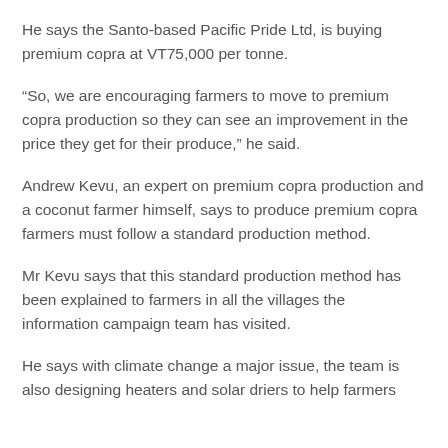He says the Santo-based Pacific Pride Ltd, is buying premium copra at VT75,000 per tonne.
“So, we are encouraging farmers to move to premium copra production so they can see an improvement in the price they get for their produce,” he said.
Andrew Kevu, an expert on premium copra production and a coconut farmer himself, says to produce premium copra farmers must follow a standard production method.
Mr Kevu says that this standard production method has been explained to farmers in all the villages the information campaign team has visited.
He says with climate change a major issue, the team is also designing heaters and solar driers to help farmers